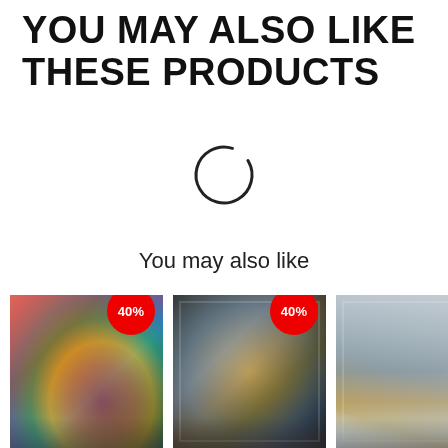YOU MAY ALSO LIKE THESE PRODUCTS
[Figure (other): Circular loading spinner icon (arc shape, mostly closed circle with gap at bottom-left)]
You may also like
[Figure (photo): Abstract colorful painting (reds, oranges, blues, greens) displayed in room, with 40% discount badge]
[Figure (photo): Abstract dark painting with gold and grey tones in white frame displayed in modern room, with 40% discount badge]
[Figure (photo): Vertical abstract painting with grey and blue tones, partially visible]